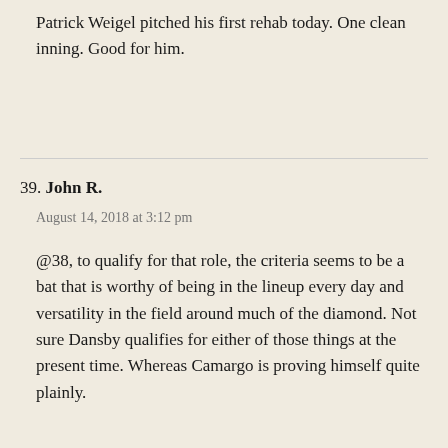Patrick Weigel pitched his first rehab today. One clean inning. Good for him.
39. John R.
August 14, 2018 at 3:12 pm
@38, to qualify for that role, the criteria seems to be a bat that is worthy of being in the lineup every day and versatility in the field around much of the diamond. Not sure Dansby qualifies for either of those things at the present time. Whereas Camargo is proving himself quite plainly.